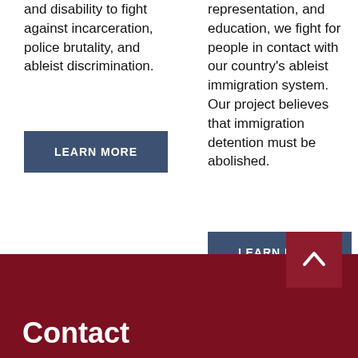and disability to fight against incarceration, police brutality, and ableist discrimination.
LEARN MORE
representation, and education, we fight for people in contact with our country's ableist immigration system. Our project believes that immigration detention must be abolished.
LEARN MORE
Contact